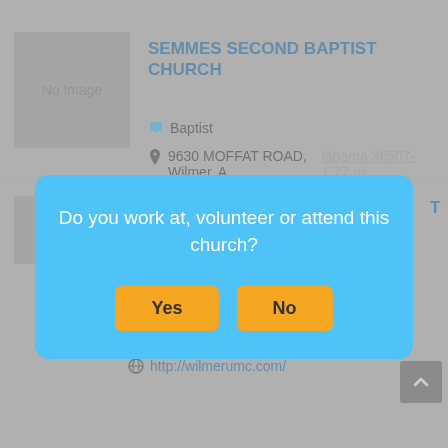[Figure (screenshot): No Image placeholder for church listing]
SEMMES SECOND BAPTIST CHURCH
Baptist
9630 MOFFAT ROAD, Wilmer, Alabama 36587-1.77 mi
[Figure (screenshot): No Image placeholder for second church listing]
United Methodist
AVENUE B, Wilmer, Alabama 36587
2.01 mi
251-649-1800
http://wilmerumc.com/
Do you work at, volunteer or attend this church?
Yes
No